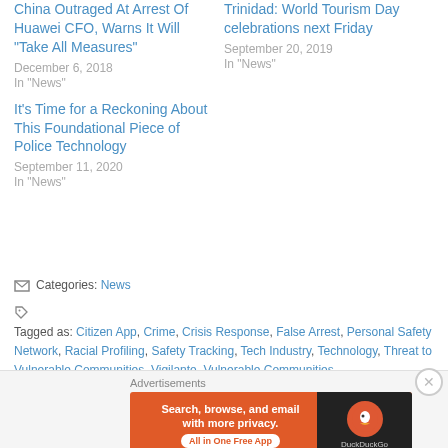China Outraged At Arrest Of Huawei CFO, Warns It Will "Take All Measures"
December 6, 2018
In “News”
Trinidad: World Tourism Day celebrations next Friday
September 20, 2019
In “News”
It’s Time for a Reckoning About This Foundational Piece of Police Technology
September 11, 2020
In “News”
Categories: News
Tagged as: Citizen App, Crime, Crisis Response, False Arrest, Personal Safety Network, Racial Profiling, Safety Tracking, Tech Industry, Technology, Threat to Vulnerable Communities, Vigilante, Vulnerable Communities
Advertisements
[Figure (other): DuckDuckGo advertisement banner: orange background with text 'Search, browse, and email with more privacy. All in One Free App' and DuckDuckGo logo on dark background]